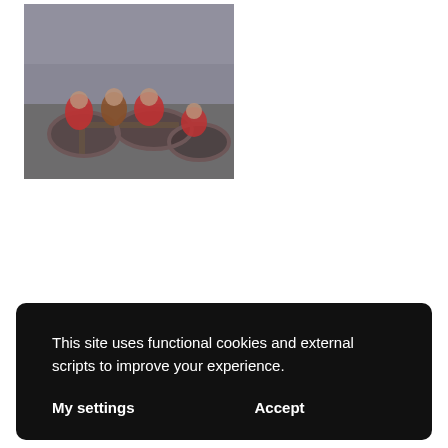[Figure (photo): Blurry outdoor photo of people riding bumper cars. Riders wearing red jackets/costumes visible on dark bumper cars. Yellow lane markings visible on ground.]
This site uses functional cookies and external scripts to improve your experience.
My settings   Accept